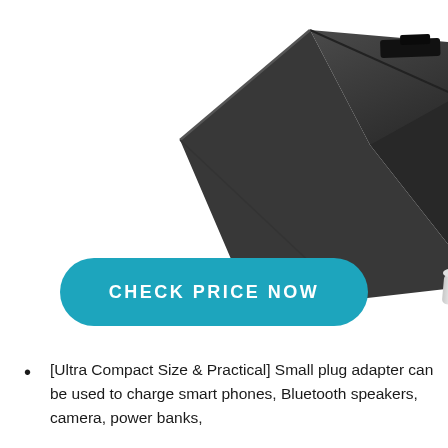[Figure (photo): A dark gray/black electrical plug adapter with three US-style prongs (two flat parallel blades and one round ground pin), photographed from a slightly angled perspective against a white background, showing the top and side of the compact cube-shaped adapter.]
CHECK PRICE NOW
[Ultra Compact Size & Practical] Small plug adapter can be used to charge smart phones, Bluetooth speakers, camera, power banks,